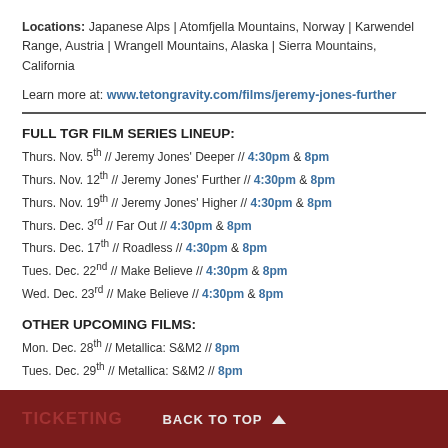Locations: Japanese Alps | Atomfjella Mountains, Norway | Karwendel Range, Austria | Wrangell Mountains, Alaska | Sierra Mountains, California
Learn more at: www.tetongravity.com/films/jeremy-jones-further
FULL TGR FILM SERIES LINEUP:
Thurs. Nov. 5th // Jeremy Jones' Deeper // 4:30pm & 8pm
Thurs. Nov. 12th // Jeremy Jones' Further // 4:30pm & 8pm
Thurs. Nov. 19th // Jeremy Jones' Higher // 4:30pm & 8pm
Thurs. Dec. 3rd // Far Out // 4:30pm & 8pm
Thurs. Dec. 17th // Roadless // 4:30pm & 8pm
Tues. Dec. 22nd // Make Believe // 4:30pm & 8pm
Wed. Dec. 23rd // Make Believe // 4:30pm & 8pm
OTHER UPCOMING FILMS:
Mon. Dec. 28th // Metallica: S&M2 // 8pm
Tues. Dec. 29th // Metallica: S&M2 // 8pm
TICKETING   BACK TO TOP